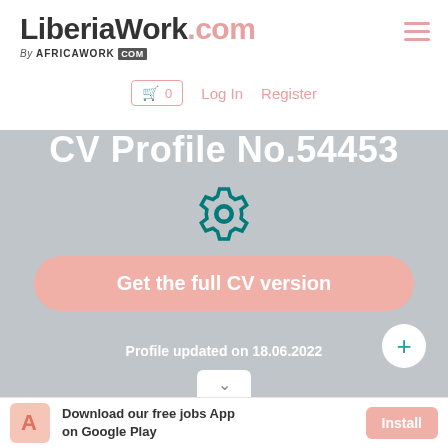LiberiaWork.com By AFRICAWORK .COM
🛒 0   Log In   Register
CV Profile No.54453
Get the full CV version
Profile updated on 18.06.2022
Download our free jobs App on Google Play
Install